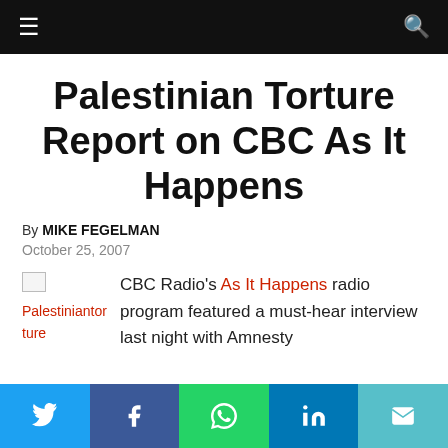Navigation bar with hamburger menu and search icon
Palestinian Torture Report on CBC As It Happens
By MIKE FEGELMAN
October 25, 2007
CBC Radio's As It Happens radio program featured a must-hear interview last night with Amnesty
[Figure (other): Broken image placeholder labeled Palestiniantorture]
Social share buttons: Twitter, Facebook, WhatsApp, LinkedIn, Email